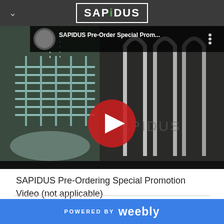SAPIDUS (logo/navigation bar)
[Figure (screenshot): YouTube video thumbnail for 'SAPIDUS Pre-Order Special Prom...' showing close-up images of dish racks and chrome wire racks, with a YouTube play button overlay. Video title and three-dot menu icon visible in the top bar.]
SAPIDUS Pre-Ordering Special Promotion Video (not applicable)
POWERED BY weebly